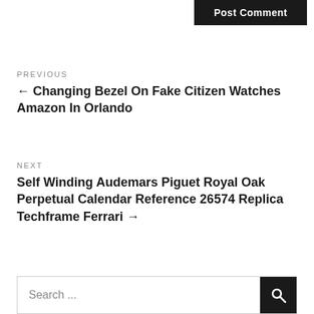Post Comment
PREVIOUS
← Changing Bezel On Fake Citizen Watches Amazon In Orlando
NEXT
Self Winding Audemars Piguet Royal Oak Perpetual Calendar Reference 26574 Replica Techframe Ferrari →
Search ...